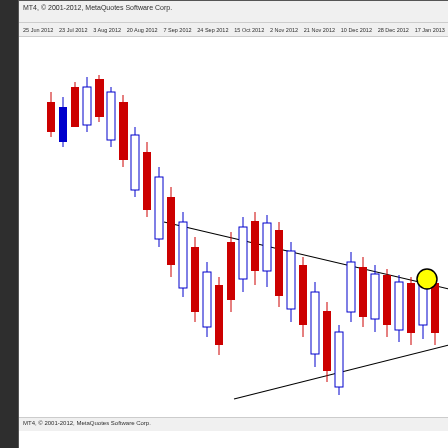[Figure (continuous-plot): MetaTrader 4 weekly candlestick chart of Copper (Copper,Weekly) showing price action from mid-2012 to January 2013. The chart displays a symmetrical triangle pattern with two converging trendlines drawn on the chart. A yellow circle marker highlights where price is testing the upper triangle resistance line near the right side of the chart. Candlesticks are colored red and blue. The chart header shows 'MT4, © 2001-2012, MetaQuotes Software Corp.' and date labels along the top. Annotations read 'WEEKLY CHART' in red and 'COPPER TESTING TRIANGLE RESISTANCE' in red on a light blue background.]
WEEKLY CHART
COPPER TESTING TRIANGLE RESISTANCE